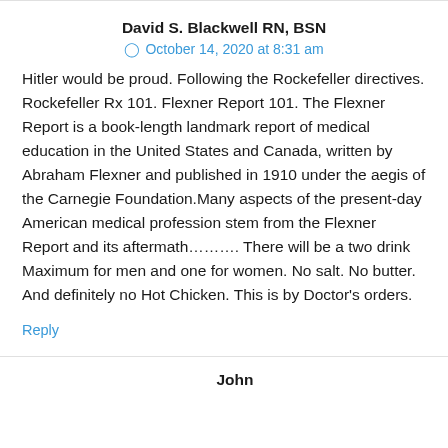David S. Blackwell RN, BSN
October 14, 2020 at 8:31 am
Hitler would be proud. Following the Rockefeller directives. Rockefeller Rx 101. Flexner Report 101. The Flexner Report is a book-length landmark report of medical education in the United States and Canada, written by Abraham Flexner and published in 1910 under the aegis of the Carnegie Foundation.Many aspects of the present-day American medical profession stem from the Flexner Report and its aftermath………. There will be a two drink Maximum for men and one for women. No salt. No butter. And definitely no Hot Chicken. This is by Doctor's orders.
Reply
John